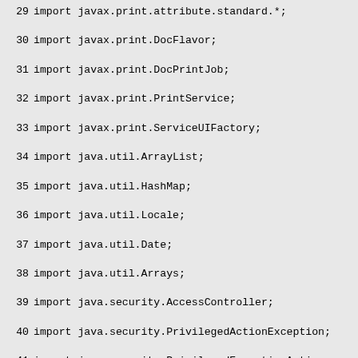29 import javax.print.attribute.standard.*;
30 import javax.print.DocFlavor;
31 import javax.print.DocPrintJob;
32 import javax.print.PrintService;
33 import javax.print.ServiceUIFactory;
34 import java.util.ArrayList;
35 import java.util.HashMap;
36 import java.util.Locale;
37 import java.util.Date;
38 import java.util.Arrays;
39 import java.security.AccessController;
40 import java.security.PriviledgedActionException;
41 import java.security.PriviledgedExceptionAction;
42 import javax.print.event.PrintServiceAttributeListen
43
44 import java.net.URI;
45 import java.net.URISyntaxException;
46 import java.net.URL;
47 import java.net.URLConnection;
48 import java.net.HttpURLConnection;
49 import java.io.File;
50 import java.io.InputStream;
51 import java.io.OutputStream;
52 import java.io.OutputStreamWriter;
53 import java.io.DataInputStream;
54 import java.io.ByteArrayOutputStream;
55 import java.io.ByteArrayInputStream;
56 import java.io.BufferedReader;
57 import java.io.InputStreamReader;
58 import java.nio.charset.Charset;